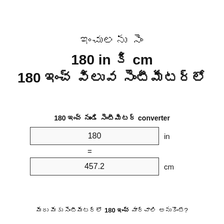ఇంచులను సెం
180 in కి cm
180 ఇంచ్ విలువ సెంటీమీటర్లలో
180 ఇంచ్ నుండి సెంటీమీటర్ converter
| 180 | in |
| = |  |
| 457.2 | cm |
మీరు మీకు సెంటీమీటర్లో 180 ఇంచ్ మార్చాలి అనుకొంటే?